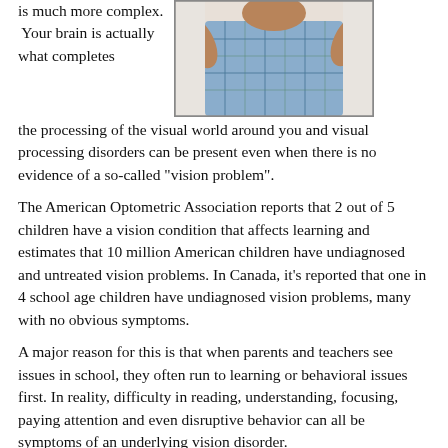is much more complex. Your brain is actually what completes the processing of the visual world around you and visual processing disorders can be present even when there is no evidence of a so-called "vision problem".
[Figure (photo): Photo of a young child wearing a blue plaid shirt, arms raised, against a white background.]
The American Optometric Association reports that 2 out of 5 children have a vision condition that affects learning and estimates that 10 million American children have undiagnosed and untreated vision problems. In Canada, it's reported that one in 4 school age children have undiagnosed vision problems, many with no obvious symptoms.
A major reason for this is that when parents and teachers see issues in school, they often run to learning or behavioral issues first. In reality, difficulty in reading, understanding, focusing, paying attention and even disruptive behavior can all be symptoms of an underlying vision disorder.